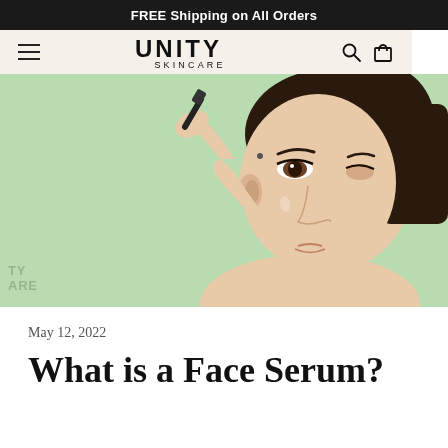FREE Shipping on All Orders
[Figure (logo): Unity Skincare logo with hamburger menu, search icon, and bag icon on a beige navigation bar]
[Figure (photo): Woman applying face serum with a dropper near her eye, on a light green background]
May 12, 2022
What is a Face Serum?